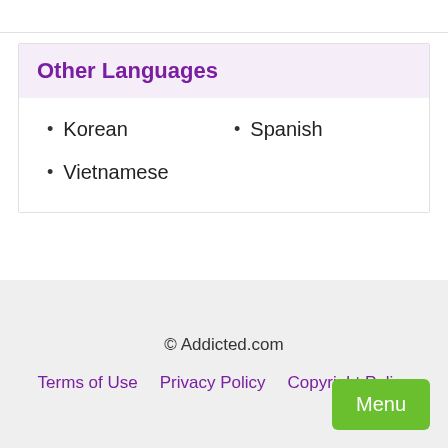Other Languages
Korean
Spanish
Vietnamese
© Addicted.com
Terms of Use   Privacy Policy   Copyright Policy